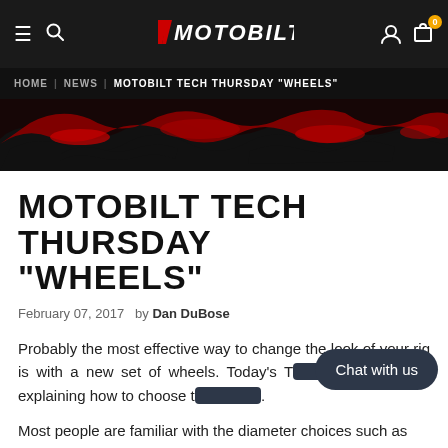≡ 🔍  MOTOBILT  👤 🛒 0
HOME | NEWS | MOTOBILT TECH THURSDAY "WHEELS"
[Figure (illustration): Red and black paint splash / grunge banner image]
MOTOBILT TECH THURSDAY "WHEELS"
February 07, 2017  by Dan DuBose
Probably the most effective way to change the look of your rig is with a new set of wheels. Today's T… focusing on explaining how to choose t….
Most people are familiar with the diameter choices such as